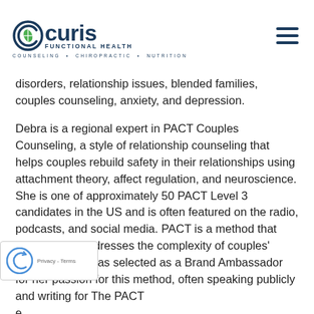Curis Functional Health — Counseling · Chiropractic · Nutrition
disorders, relationship issues, blended families, couples counseling, anxiety, and depression.
Debra is a regional expert in PACT Couples Counseling, a style of relationship counseling that helps couples rebuild safety in their relationships using attachment theory, affect regulation, and neuroscience. She is one of approximately 50 PACT Level 3 candidates in the US and is often featured on the radio, podcasts, and social media. PACT is a method that successfully addresses the complexity of couples' issues. Debra was selected as a Brand Ambassador for her passion for this method, often speaking publicly and writing for The PACT [Institute].
With her unique background in applied sport